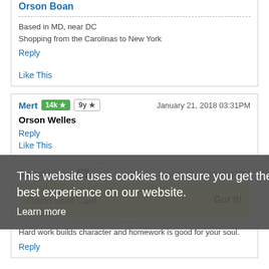Orson Boan
Based in MD, near DC
Shopping from the Carolinas to New York
Reply
Like This
Mert  14k ★  9y ★  January 21, 2018 03:31PM
Orson Welles
Reply
Like This
This website uses cookies to ensure you get the best experience on our website.
Learn more
Mr Johnston  3k  6y  January 21, 2018 03:43PM
Orson Scott Card
Got it!
Hard work builds character and homework is good for your soul.
Reply